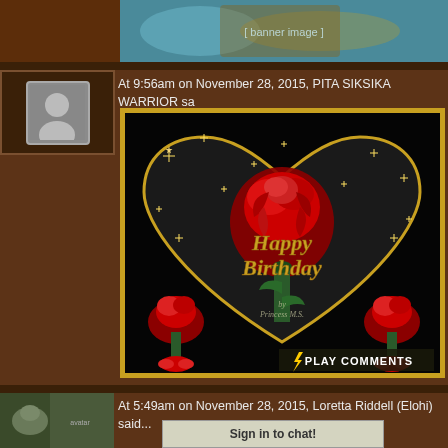[Figure (photo): Top banner image showing decorative artwork in teal/gold tones]
At 9:56am on November 28, 2015, PITA SIKSIKA WARRIOR sa
[Figure (photo): Happy Birthday card with red roses on black background inside golden heart shape, with sparkles. Text reads 'Happy Birthday' in gold italic font. Bottom right shows 'PLAY COMMENTS' button with lightning bolt icon. Watermark reads 'by Princess M.S.']
At 5:49am on November 28, 2015, Loretta Riddell (Elohi) said...
Sign in to chat!